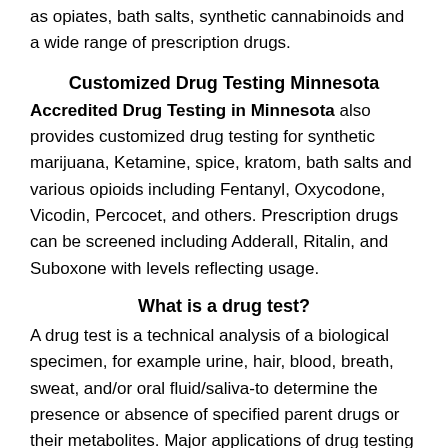as opiates, bath salts, synthetic cannabinoids and a wide range of prescription drugs.
Customized Drug Testing Minnesota
Accredited Drug Testing in Minnesota also provides customized drug testing for synthetic marijuana, Ketamine, spice, kratom, bath salts and various opioids including Fentanyl, Oxycodone, Vicodin, Percocet, and others. Prescription drugs can be screened including Adderall, Ritalin, and Suboxone with levels reflecting usage.
What is a drug test?
A drug test is a technical analysis of a biological specimen, for example urine, hair, blood, breath, sweat, and/or oral fluid/saliva-to determine the presence or absence of specified parent drugs or their metabolites. Major applications of drug testing include detection of the presence of performance enhancing steroids in